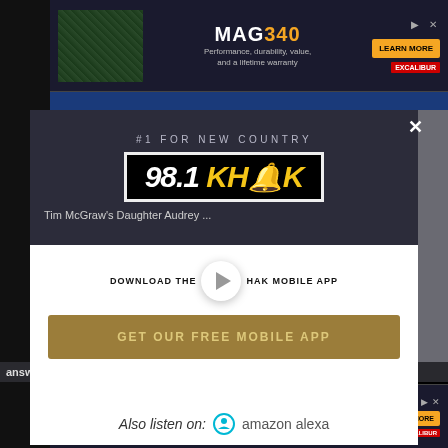[Figure (screenshot): Top advertisement banner for MAG340 crossbow with learn more button and Excalibur logo]
[Figure (screenshot): 98.1 KHAK radio station modal popup overlay on website. Shows #1 For New Country tagline, station logo, article title 'Tim McGraw's Daughter Audrey...', download app prompt with play button, GET OUR FREE MOBILE APP button, Also listen on Amazon Alexa section]
[Figure (screenshot): Bottom advertisement banner for MAG340 crossbow with learn more button]